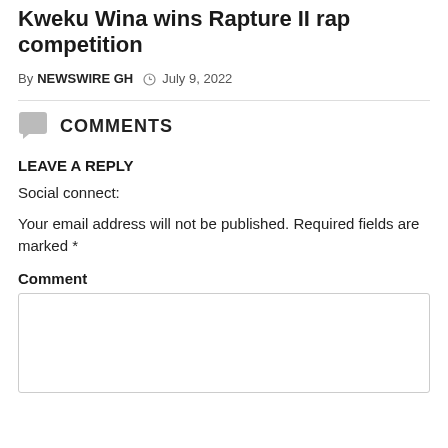Kweku Wina wins Rapture II rap competition
By NEWSWIRE GH  July 9, 2022
COMMENTS
LEAVE A REPLY
Social connect:
Your email address will not be published. Required fields are marked *
Comment